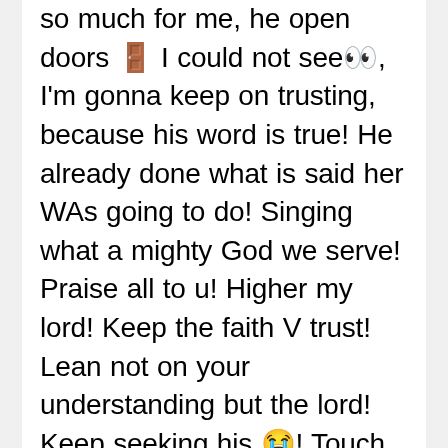so much for me, he open doors 🚪 I could not see👀, I'm gonna keep on trusting, because his word is true! He already done what is said her WAs going to do! Singing what a mighty God we serve! Praise all to u! Higher my lord! Keep the faith V trust! Lean not on your understanding but the lord! Keep seeking his 😭! Touch not his anointed do he prophet no harm! I'm the light of the world! Keep shining for Me God your father! I told you I am the great I am! I told you I'm the father for the fatherless and I'm